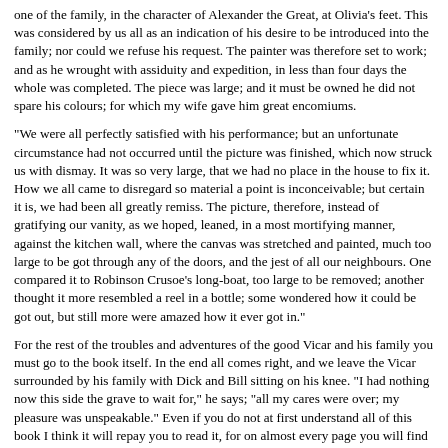one of the family, in the character of Alexander the Great, at Olivia's feet. This was considered by us all as an indication of his desire to be introduced into the family; nor could we refuse his request. The painter was therefore set to work; and as he wrought with assiduity and expedition, in less than four days the whole was completed. The piece was large; and it must be owned he did not spare his colours; for which my wife gave him great encomiums.
"We were all perfectly satisfied with his performance; but an unfortunate circumstance had not occurred until the picture was finished, which now struck us with dismay. It was so very large, that we had no place in the house to fix it. How we all came to disregard so material a point is inconceivable; but certain it is, we had been all greatly remiss. The picture, therefore, instead of gratifying our vanity, as we hoped, leaned, in a most mortifying manner, against the kitchen wall, where the canvas was stretched and painted, much too large to be got through any of the doors, and the jest of all our neighbours. One compared it to Robinson Crusoe's long-boat, too large to be removed; another thought it more resembled a reel in a bottle; some wondered how it could be got out, but still more were amazed how it ever got in."
For the rest of the troubles and adventures of the good Vicar and his family you must go to the book itself. In the end all comes right, and we leave the Vicar surrounded by his family with Dick and Bill sitting on his knee. "I had nothing now this side the grave to wait for," he says; "all my cares were over; my pleasure was unspeakable." Even if you do not at first understand all of this book I think it will repay you to read it, for on almost every page you will find touches of gentle humor. We feel that no one but a man of simple childlike heart could have written such a book, and when we have closed it we feel better and happier for having read it.